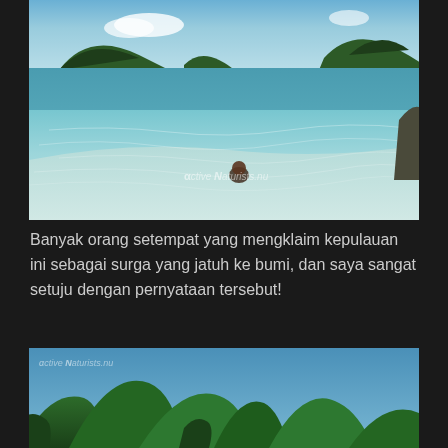[Figure (photo): Aerial/wide-angle view of shallow turquoise tropical waters with a person standing/floating in the water. Rocky forested islands visible in the background under a blue sky. The image has a watermark reading 'Active Naturists' or similar in the center.]
Banyak orang setempat yang mengklaim kepulauan ini sebagai surga yang jatuh ke bumi, dan saya sangat setuju dengan pernyataan tersebut!
[Figure (photo): Ground-level view of lush green forested hills/peaks against a bright blue sky, with tropical vegetation in the foreground.]